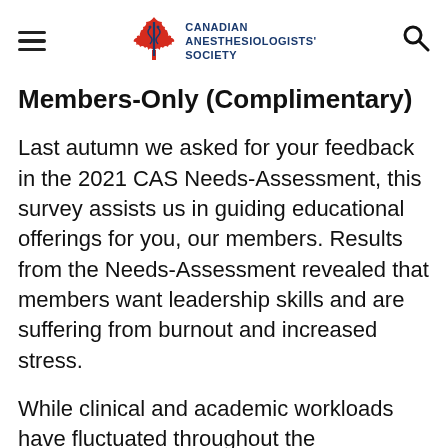Canadian Anesthesiologists' Society
Members-Only (Complimentary)
Last autumn we asked for your feedback in the 2021 CAS Needs-Assessment, this survey assists us in guiding educational offerings for you, our members. Results from the Needs-Assessment revealed that members want leadership skills and are suffering from burnout and increased stress.
While clinical and academic workloads have fluctuated throughout the